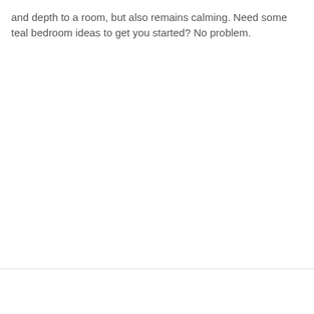and depth to a room, but also remains calming. Need some teal bedroom ideas to get you started? No problem.